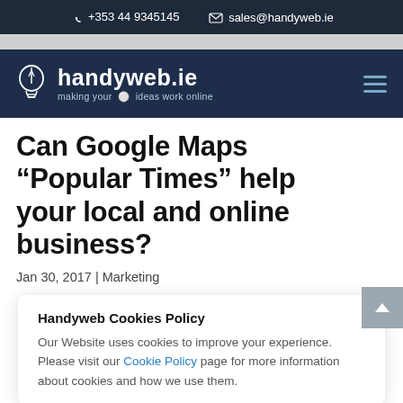+353 44 9345145   sales@handyweb.ie
[Figure (logo): handyweb.ie logo with lightbulb icon and tagline 'making your ideas work online' on dark navy background]
Can Google Maps “Popular Times” help your local and online business?
Jan 30, 2017 | Marketing
Handyweb Cookies Policy
Our Website uses cookies to improve your experience. Please visit our Cookie Policy page for more information about cookies and how we use them.